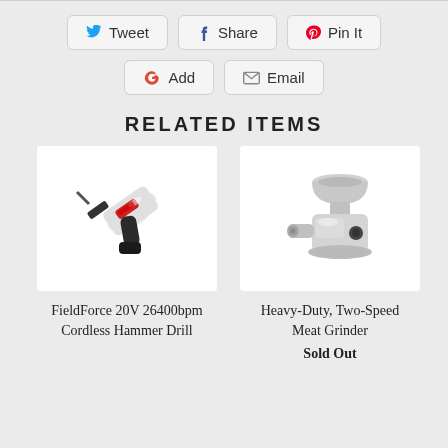Tweet
Share
Pin It
Add
Email
RELATED ITEMS
[Figure (photo): FieldForce 20V cordless hammer drill, black and white/red color, on white background]
FieldForce 20V 26400bpm Cordless Hammer Drill
[Figure (photo): Heavy-Duty Two-Speed Meat Grinder, silver/chrome color, on white background]
Heavy-Duty, Two-Speed Meat Grinder
Sold Out